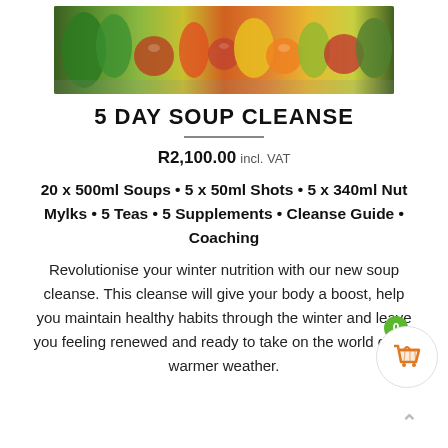[Figure (photo): Banner photo of assorted fresh vegetables including greens, carrots, bell peppers, mushrooms, tomatoes, and herbs arranged on a surface.]
5 DAY SOUP CLEANSE
R2,100.00 incl. VAT
20 x 500ml Soups • 5 x 50ml Shots • 5 x 340ml Nut Mylks • 5 Teas • 5 Supplements • Cleanse Guide • Coaching
Revolutionise your winter nutrition with our new soup cleanse. This cleanse will give your body a boost, help you maintain healthy habits through the winter and leave you feeling renewed and ready to take on the world come warmer weather.